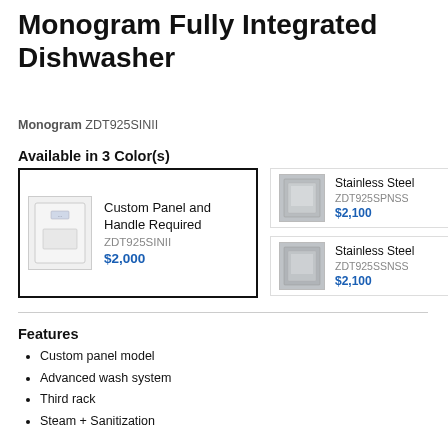Monogram Fully Integrated Dishwasher
Monogram ZDT925SINII
Available in 3 Color(s)
[Figure (photo): Custom panel dishwasher product image, white/light color]
Custom Panel and Handle Required
ZDT925SINII
$2,000
[Figure (photo): Stainless steel dishwasher product image]
Stainless Steel
ZDT925SPNSS
$2,100
[Figure (photo): Stainless steel dishwasher product image]
Stainless Steel
ZDT925SSNSS
$2,100
Features
Custom panel model
Advanced wash system
Third rack
Steam + Sanitization